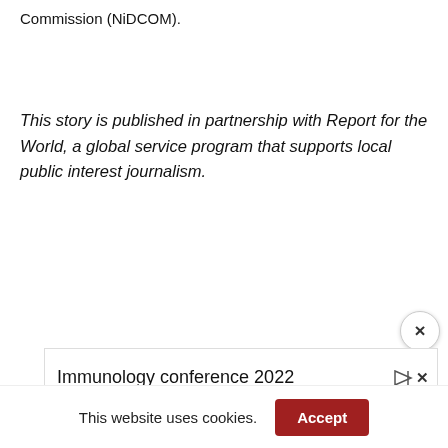Commission (NiDCOM).
This story is published in partnership with Report for the World, a global service program that supports local public interest journalism.
[Figure (screenshot): Close button (X) overlay element, circular white button with X symbol]
[Figure (screenshot): Advertisement bar showing 'Immunology conference 2022' with ad icons (triangle play and X)]
This website uses cookies.
Accept